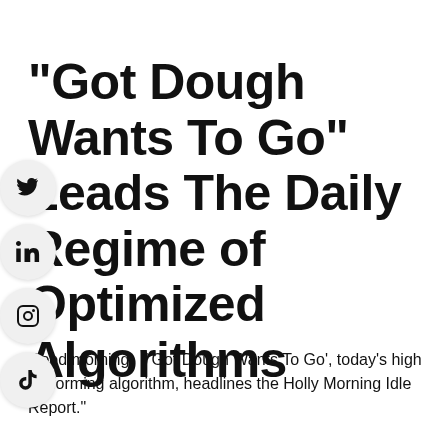“Got Dough Wants To Go” Leads The Daily Regime of Optimized Algorithms
Good morning.  "‘Got Dough Wants To Go’, today’s high performing algorithm, headlines the Holly Morning Idle Report."